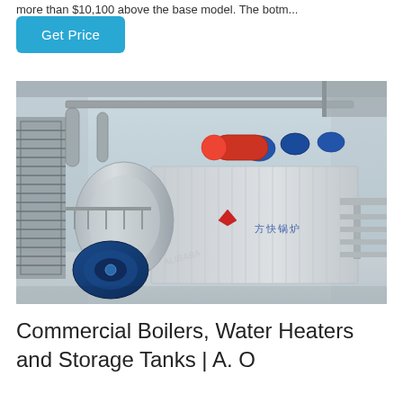more than $10,100 above the base model. The botm...
Get Price
[Figure (photo): Industrial commercial boiler system with blue motor/burner assembly, cylindrical pressure vessel, metal walkways and stairs, piping, and Chinese text on the unit casing, photographed in an industrial facility.]
Commercial Boilers, Water Heaters and Storage Tanks | A. O